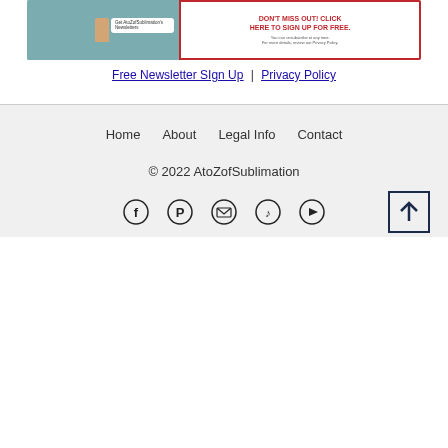[Figure (illustration): Newsletter signup banner with teal background showing a hand holding a phone with a speech bubble, and a white bordered box with red text saying DON'T MISS OUT! CLICK HERE TO SIGN UP FOR FREE, with unsubscribe and privacy policy note]
Free Newsletter SIgn Up | Privacy Policy
Home  About  Legal Info  Contact
© 2022 AtoZofSublimation
[Facebook] [Pinterest] [Email] [TikTok] [YouTube]